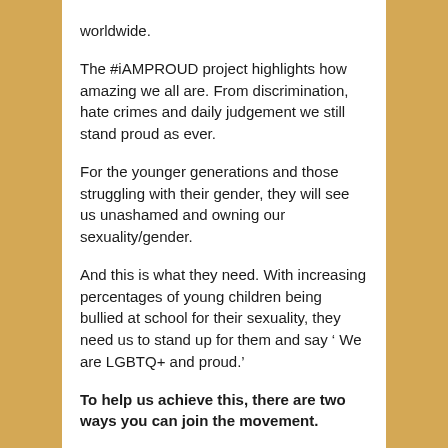worldwide.
The #iAMPROUD project highlights how amazing we all are. From discrimination, hate crimes and daily judgement we still stand proud as ever.
For the younger generations and those struggling with their gender, they will see us unashamed and owning our sexuality/gender.
And this is what they need. With increasing percentages of young children being bullied at school for their sexuality, they need us to stand up for them and say ‘ We are LGBTQ+ and proud.’
To help us achieve this, there are two ways you can join the movement.
1.  Take a picture of yourself with the hashtag ‘iAMPROUD’ with your sexuality, gender or identity.